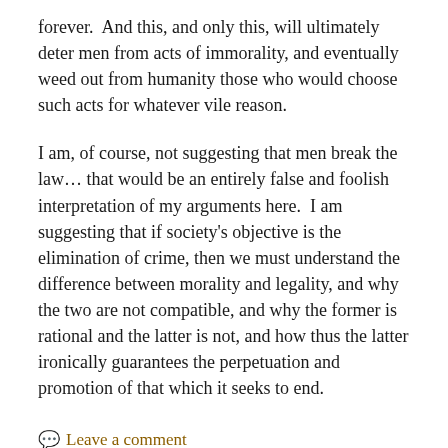forever.  And this, and only this, will ultimately deter men from acts of immorality, and eventually weed out from humanity those who would choose such acts for whatever vile reason.
I am, of course, not suggesting that men break the law… that would be an entirely false and foolish interpretation of my arguments here.  I am suggesting that if society's objective is the elimination of crime, then we must understand the difference between morality and legality, and why the two are not compatible, and why the former is rational and the latter is not, and how thus the latter ironically guarantees the perpetuation and promotion of that which it seeks to end.
Leave a comment